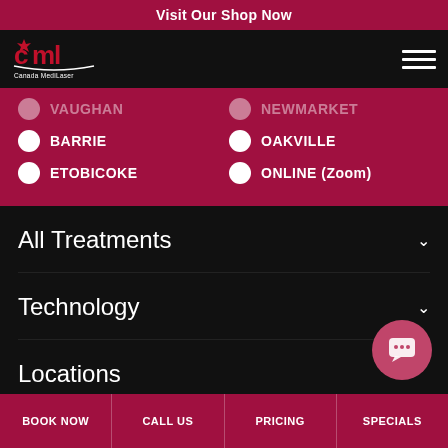Visit Our Shop Now
[Figure (logo): Canada MediLaser logo with CML text and maple leaf]
VAUGHAN
NEWMARKET
BARRIE
OAKVILLE
ETOBICOKE
ONLINE (Zoom)
All Treatments
Technology
Locations
BOOK NOW  CALL US  PRICING  SPECIALS